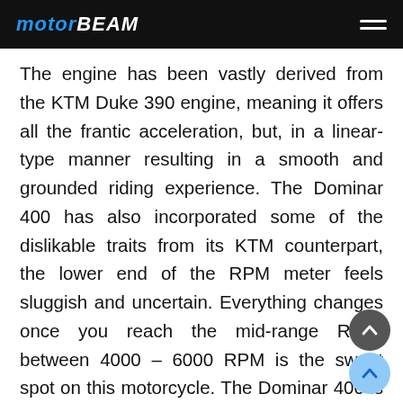MOTORBEAM
The engine has been vastly derived from the KTM Duke 390 engine, meaning it offers all the frantic acceleration, but, in a linear-type manner resulting in a smooth and grounded riding experience. The Dominar 400 has also incorporated some of the dislikable traits from its KTM counterpart, the lower end of the RPM meter feels sluggish and uncertain. Everything changes once you reach the mid-range RPM, between 4000 – 6000 RPM is the sweet spot on this motorcycle. The Dominar 400 is at its smoothest and ensures an encouraging cruising speed of 90 – 110 km/h. Yes, the Dominar 400 is a fully-fledged sports tourer.